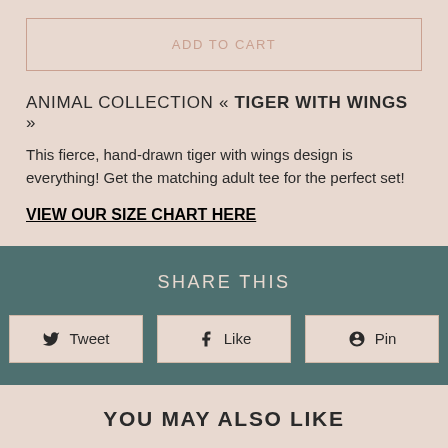ADD TO CART
ANIMAL COLLECTION « TIGER WITH WINGS »
This fierce, hand-drawn tiger with wings design is everything! Get the matching adult tee for the perfect set!
VIEW OUR SIZE CHART HERE
SHARE THIS
Tweet
Like
Pin
YOU MAY ALSO LIKE